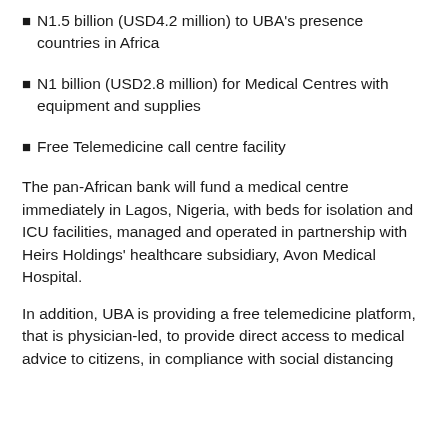N1.5 billion (USD4.2 million) to UBA's presence countries in Africa
N1 billion (USD2.8 million) for Medical Centres with equipment and supplies
Free Telemedicine call centre facility
The pan-African bank will fund a medical centre immediately in Lagos, Nigeria, with beds for isolation and ICU facilities, managed and operated in partnership with Heirs Holdings' healthcare subsidiary, Avon Medical Hospital.
In addition, UBA is providing a free telemedicine platform, that is physician-led, to provide direct access to medical advice to citizens, in compliance with social distancing